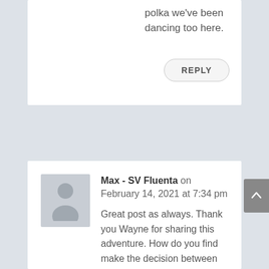polka we've been dancing too here.
REPLY
Max - SV Fluenta on February 14, 2021 at 7:34 pm
Great post as always. Thank you Wayne for sharing this adventure. How do you find make the decision between Propspeed and Pellerclean ? We